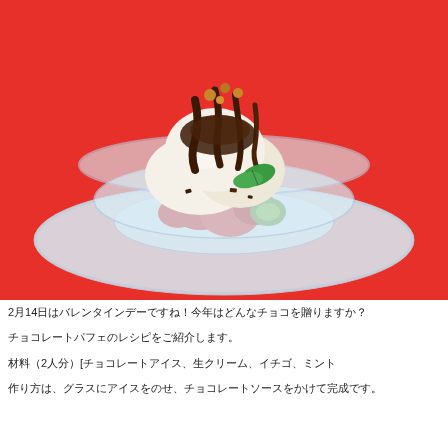[Figure (photo): A glass bowl on a glass plate set against a red background, filled with strawberries and ice cream topped with chocolate sauce and a mint leaf garnish.]
2月14日はバレンタインデーですね！今年はどんなチョコを贈りますか？
チョコレートパフェのレシピをご紹介します。
材料（2人分）[チョコレートアイス、生クリーム、イチゴ、ミント
作り方は、グラスにアイスをのせ、チョコレートソースをかけて完成です。